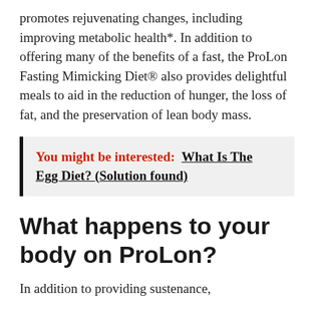promotes rejuvenating changes, including improving metabolic health*. In addition to offering many of the benefits of a fast, the ProLon Fasting Mimicking Diet® also provides delightful meals to aid in the reduction of hunger, the loss of fat, and the preservation of lean body mass.
You might be interested: What Is The Egg Diet? (Solution found)
What happens to your body on ProLon?
In addition to providing sustenance,